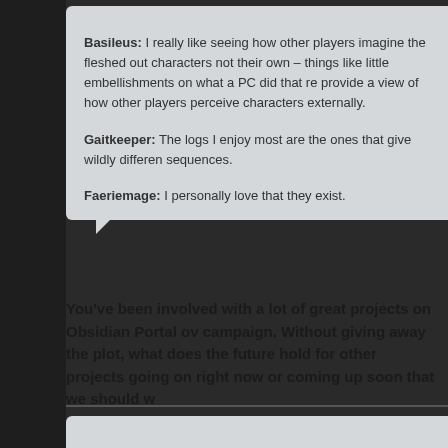Basileus: I really like seeing how other players imagine the fleshed out characters not their own – things like little embellishments on what a PC did that re provide a view of how other players perceive characters externally.

Gaitkeeper: The logs I enjoy most are the ones that give wildly differen sequences.

Faeriemage: I personally love that they exist.
You've been involved with a lot of great projects on Obsidian Portal ov campaign. Without giving away the plot, what does the future hold for other projects going on right now or coming up soon that we should w
Gaming Megaverse: The players drive my game, so outside of the big as they are not sure who it is yet) most of the future is unknown. The gr letter to make that began the game in Silver City, Idaho, and are curren future they know. As far as outside projects I just retired and bought a b up to sail from Los Angeles to Hawaii and then to Alaska- you can follow @TTRPGSailor.